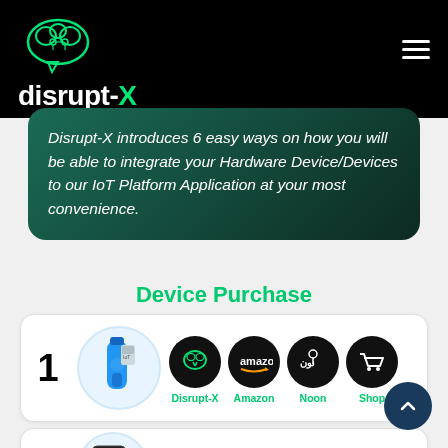[Figure (logo): disrupt-X logo: brain cloud icon in green outline on black background, with text 'disrupt-X' in white and green]
Disrupt-X introduces 6 easy ways on how you will be able to integrate your Hardware Device/Devices to our IoT Platform Application at your most convenience.
Device Purchase
1 - Device purchase options: Disrupt-X, Amazon, Noon, Shop
2 - Configure Device via ...